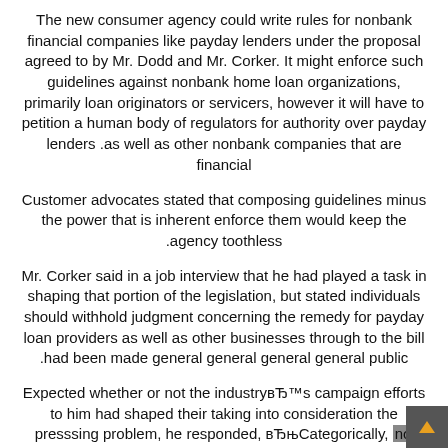The new consumer agency could write rules for nonbank financial companies like payday lenders under the proposal agreed to by Mr. Dodd and Mr. Corker. It might enforce such guidelines against nonbank home loan organizations, primarily loan originators or servicers, however it will have to petition a human body of regulators for authority over payday lenders as well as other nonbank companies that are financial.
Customer advocates stated that composing guidelines minus the power that is inherent enforce them would keep the agency toothless.
Mr. Corker said in a job interview that he had played a task in shaping that portion of the legislation, but stated individuals should withhold judgment concerning the remedy for payday loan providers as well as other businesses through to the bill had been made general general general general public.
Expected whether or not the industryвЂ™s campaign efforts to him had shaped their taking into consideration the presssing problem, he responded, вЂњCategorically, no